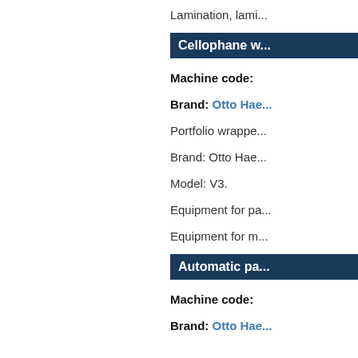Lamination, lami...
Cellophane w...
Machine code:
Brand: Otto Hae...
Portfolio wrappe...
Brand: Otto Hae...
Model: V3.
Equipment for pa...
Equipment for m...
Automatic pa...
Machine code:
Brand: Otto Hae...